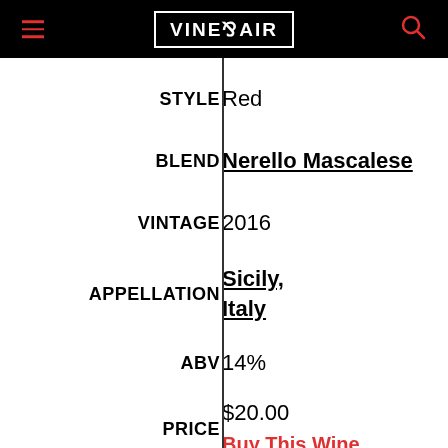VINEPAIR
| Label | Value |
| --- | --- |
| STYLE | Red |
| BLEND | Nerello Mascalese |
| VINTAGE | 2016 |
| APPELLATION | Sicily, Italy |
| ABV | 14% |
| PRICE | $20.00 / Buy This Wine |